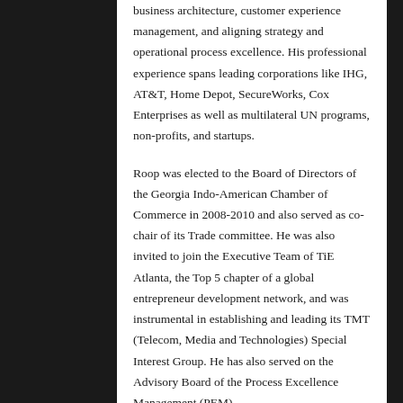business architecture, customer experience management, and aligning strategy and operational process excellence. His professional experience spans leading corporations like IHG, AT&T, Home Depot, SecureWorks, Cox Enterprises as well as multilateral UN programs, non-profits, and startups.
Roop was elected to the Board of Directors of the Georgia Indo-American Chamber of Commerce in 2008-2010 and also served as co-chair of its Trade committee. He was also invited to join the Executive Team of TiE Atlanta, the Top 5 chapter of a global entrepreneur development network, and was instrumental in establishing and leading its TMT (Telecom, Media and Technologies) Special Interest Group. He has also served on the Advisory Board of the Process Excellence Management (PEM)...